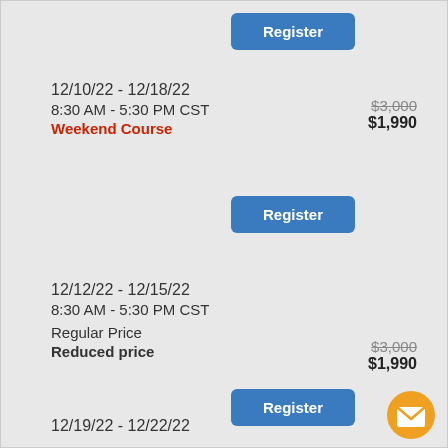Register
12/10/22 - 12/18/22
8:30 AM - 5:30 PM CST
Weekend Course
$3,000
$1,990
Register
12/12/22 - 12/15/22
8:30 AM - 5:30 PM CST
Regular Price $3,000
Reduced price $1,990
Register
12/19/22 - 12/22/22